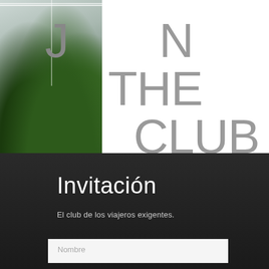[Figure (photo): Interior photo showing a window with mountain view and a large palm plant, partially overlaid with large grey text]
JOIN THE CLUB
Invitación
El club de los viajeros exigentes.
Nombre